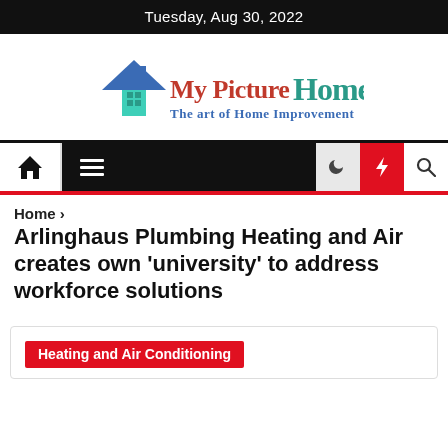Tuesday, Aug 30, 2022
[Figure (logo): My Picture Home logo with teal house icon and tagline 'The art of Home Improvement']
[Figure (screenshot): Navigation bar with home icon, hamburger menu (dark background), moon icon, red lightning bolt button, and search icon]
Home >
Arlinghaus Plumbing Heating and Air creates own 'university' to address workforce solutions
Heating and Air Conditioning